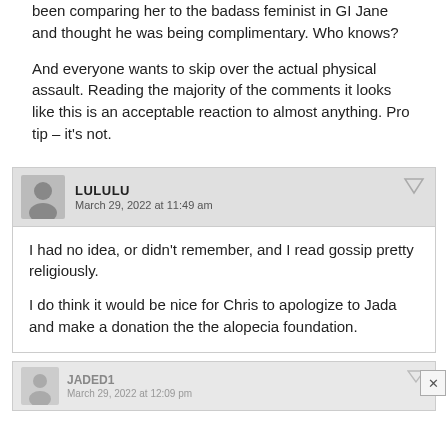been comparing her to the badass feminist in GI Jane and thought he was being complimentary. Who knows?

And everyone wants to skip over the actual physical assault. Reading the majority of the comments it looks like this is an acceptable reaction to almost anything. Pro tip – it's not.
LULULU
March 29, 2022 at 11:49 am
I had no idea, or didn't remember, and I read gossip pretty religiously.

I do think it would be nice for Chris to apologize to Jada and make a donation the the alopecia foundation.
JADED1
March 29, 2022 at 12:09 pm